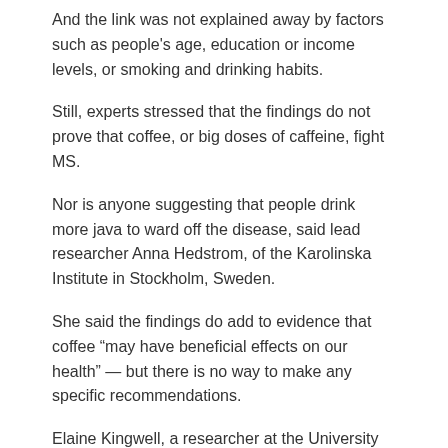And the link was not explained away by factors such as people's age, education or income levels, or smoking and drinking habits.
Still, experts stressed that the findings do not prove that coffee, or big doses of caffeine, fight MS.
Nor is anyone suggesting that people drink more java to ward off the disease, said lead researcher Anna Hedstrom, of the Karolinska Institute in Stockholm, Sweden.
She said the findings do add to evidence that coffee “may have beneficial effects on our health” — but there is no way to make any specific recommendations.
Elaine Kingwell, a researcher at the University of British Columbia, in Vancouver, Canada, agreed.
There could still be other explanations for the coffee-MS connection, she said. Plus, past studies looking at this same question have come to inconsistent conclusions, explained Kingwell, who wrote an editorial published with the study. It appeared March 3 in the Journal of Neurology, Neurosurgery & Psychiatry.